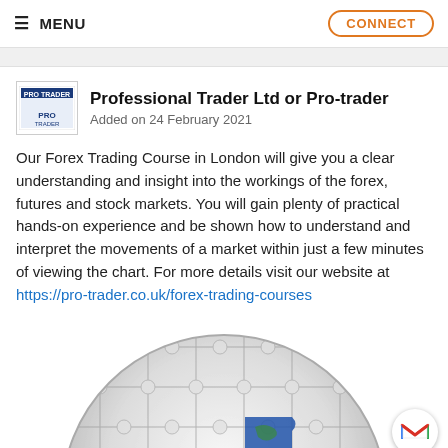≡ MENU   CONNECT
Professional Trader Ltd or Pro-trader
Added on 24 February 2021
Our Forex Trading Course in London will give you a clear understanding and insight into the workings of the forex, futures and stock markets. You will gain plenty of practical hands-on experience and be shown how to understand and interpret the movements of a market within just a few minutes of viewing the chart. For more details visit our website at https://pro-trader.co.uk/forex-trading-courses
[Figure (photo): Globe made of puzzle pieces with one blue piece highlighted, partially visible at bottom of page]